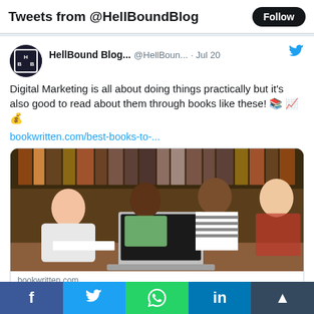Tweets from @HellBoundBlog
HellBound Blog... @HellBoun... · Jul 20
Digital Marketing is all about doing things practically but it's also good to read about them through books like these! 📚 📈 💰
bookwritten.com/best-books-to-...
[Figure (photo): Students studying together at a library table with a laptop open, bookshelves in the background]
bookwritten.com
Best Books To Read For Learning Digital
f  Twitter  WhatsApp  in  Share